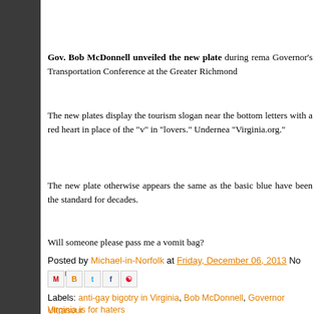Gov. Bob McDonnell unveiled the new plate during remarks at the Governor's Transportation Conference at the Greater Richmond...
The new plates display the tourism slogan near the bottom letters with a red heart in place of the "v" in "lovers." Underneath... "Virginia.org."
The new plate otherwise appears the same as the basic blue... have been the standard for decades.
Will someone please pass me a vomit bag?
Posted by Michael-in-Norfolk at Friday, December 06, 2013   No comm...
[Figure (screenshot): Social sharing icons: email, blogger, twitter, facebook, pinterest]
Labels: anti-gay bigotry in Virginia, Bob McDonnell, Governor Ultrasound... Virginia is for haters
Dick Cheney: Nelson Mandela Was a Terro...
[Figure (photo): Photo of a person, partially visible at bottom of page]